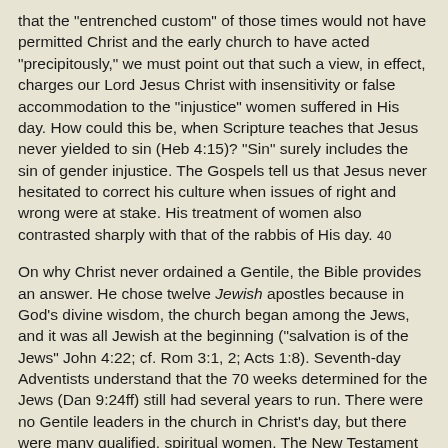that the "entrenched custom" of those times would not have permitted Christ and the early church to have acted "precipitously," we must point out that such a view, in effect, charges our Lord Jesus Christ with insensitivity or false accommodation to the "injustice" women suffered in His day. How could this be, when Scripture teaches that Jesus never yielded to sin (Heb 4:15)? "Sin" surely includes the sin of gender injustice. The Gospels tell us that Jesus never hesitated to correct his culture when issues of right and wrong were at stake. His treatment of women also contrasted sharply with that of the rabbis of His day. 40
On why Christ never ordained a Gentile, the Bible provides an answer. He chose twelve Jewish apostles because in God's divine wisdom, the church began among the Jews, and it was all Jewish at the beginning ("salvation is of the Jews" John 4:22; cf. Rom 3:1, 2; Acts 1:8). Seventh-day Adventists understand that the 70 weeks determined for the Jews (Dan 9:24ff) still had several years to run. There were no Gentile leaders in the church in Christ's day, but there were many qualified, spiritual women. The New Testament actually does report some Gentile apostles (2 Cor 1:19; 1 Thess 1:1; 2 Thess 1:1, Silvanus?), but not one female apostle (we'll look at Junia later). Thus, those who attempt to present a "Gentile" argument to counter the absence of